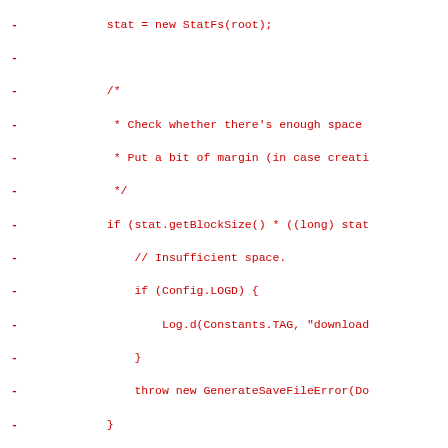[Figure (screenshot): Code diff showing removal (red lines with -) and addition (green lines with +) of Java code. Removed lines show StatFs usage, block size check, log/error handling, and SD card path logic. Added lines show getCacheDestination call.]